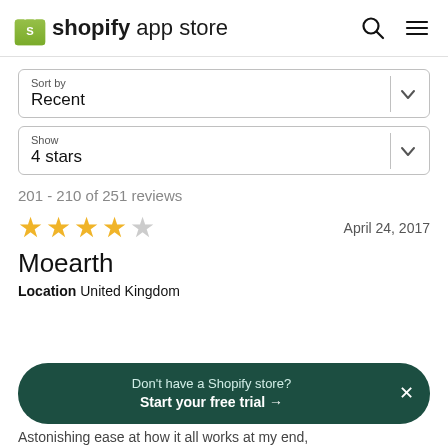shopify app store
Sort by
Recent
Show
4 stars
201 - 210 of 251 reviews
★★★★☆  April 24, 2017
Moearth
Location  United Kingdom
Don't have a Shopify store?
Start your free trial →
Astonishing ease at how it all works at my end,